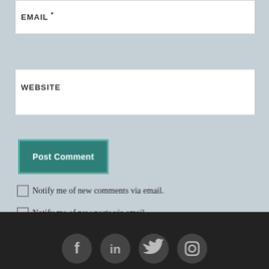EMAIL *
WEBSITE
Post Comment
Notify me of new comments via email.
Notify me of new posts via email.
[Figure (other): Footer with social media icons: Facebook, LinkedIn, Twitter, Instagram]